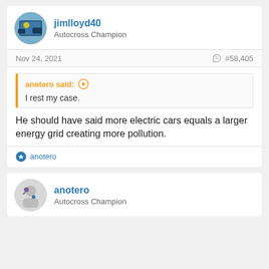jimlloyd40
Autocross Champion
Nov 24, 2021
#58,405
anotero said:
I rest my case.
He should have said more electric cars equals a larger energy grid creating more pollution.
anotero
anotero
Autocross Champion